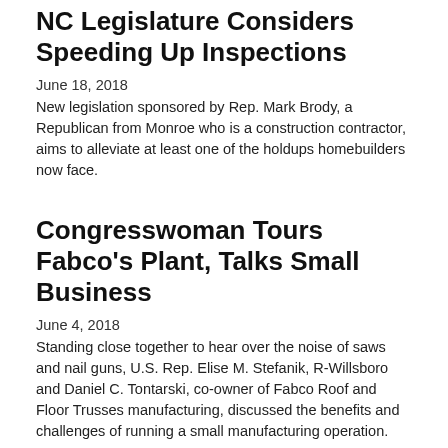NC Legislature Considers Speeding Up Inspections
June 18, 2018
New legislation sponsored by Rep. Mark Brody, a Republican from Monroe who is a construction contractor, aims to alleviate at least one of the holdups homebuilders now face.
Congresswoman Tours Fabco's Plant, Talks Small Business
June 4, 2018
Standing close together to hear over the noise of saws and nail guns, U.S. Rep. Elise M. Stefanik, R-Willsboro and Daniel C. Tontarski, co-owner of Fabco Roof and Floor Trusses manufacturing, discussed the benefits and challenges of running a small manufacturing operation.
EPA Proposes Rule to Require Transparent Science in...